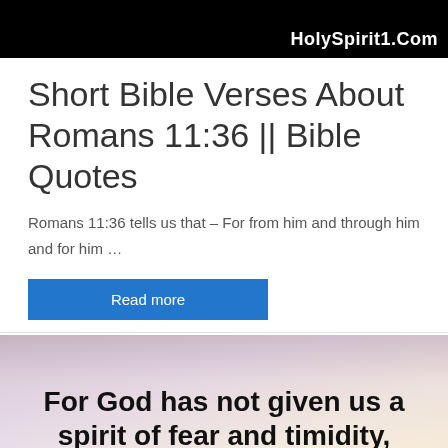HolySpirit1.Com
Short Bible Verses About Romans 11:36 || Bible Quotes
Romans 11:36 tells us that – For from him and through him and for him …
Read more
[Figure (illustration): Inspirational Bible quote image with misty/cloudy background. Bold black text reads: 'For God has not given us a spirit of fear and timidity,' followed by italic gray text: 'but of power, love,']